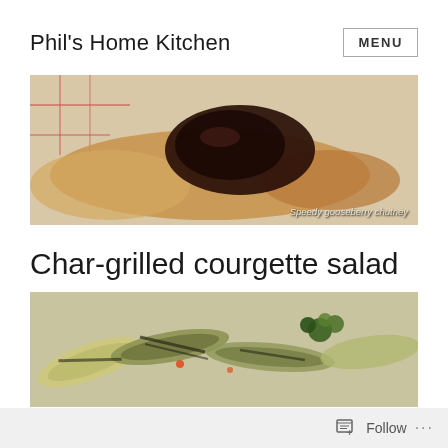Phil's Home Kitchen
[Figure (photo): Close-up photo of speedy gooseberry chutney on flatbread/crackers with caption 'Speedy gooseberry chutney']
Char-grilled courgette salad
[Figure (photo): Photo of char-grilled courgette salad with herbs and vegetables]
Follow ...